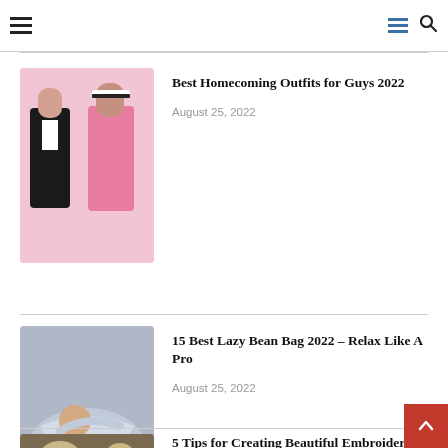Navigation header with hamburger menu, list icon, and search icon
[Figure (photo): Two men posing in fashion outfits — one in a black embellished suit, one in a pink suit with a visor cap, against a pink background]
Best Homecoming Outfits for Guys 2022
August 25, 2022
[Figure (photo): A woman relaxing on a large grey lazy bean bag covered with a fluffy blanket]
15 Best Lazy Bean Bag 2022 – Relax Like A Pro
August 25, 2022
[Figure (photo): Mushrooms growing in a natural setting, partially visible]
5 Tips for Creating Beautiful Embroidery Designs